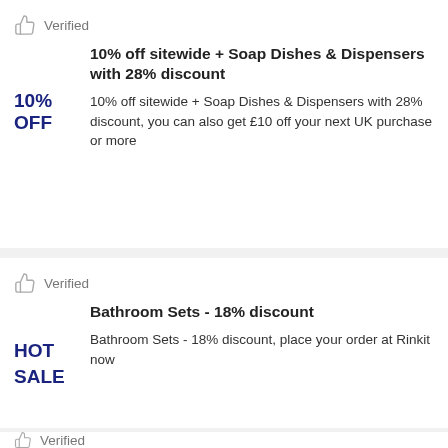Verified
10% off sitewide + Soap Dishes & Dispensers with 28% discount
10%
OFF
10% off sitewide + Soap Dishes & Dispensers with 28% discount, you can also get £10 off your next UK purchase or more
Verified
Bathroom Sets - 18% discount
HOT
SALE
Bathroom Sets - 18% discount, place your order at Rinkit now
Verified